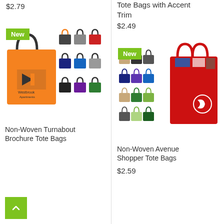$2.79
[Figure (photo): Non-Woven Turnabout Brochure Tote Bags product image showing a large orange bag with Westbrook Apartments logo and a grid of small bags in multiple colors, with a green New badge]
Non-Woven Turnabout Brochure Tote Bags
Tote Bags with Accent Trim
$2.49
[Figure (photo): Non-Woven Avenue Shopper Tote Bags product image showing a large red shopper tote bag with a white logo and a grid of small bags in multiple colors, with a green New badge]
Non-Woven Avenue Shopper Tote Bags
$2.59